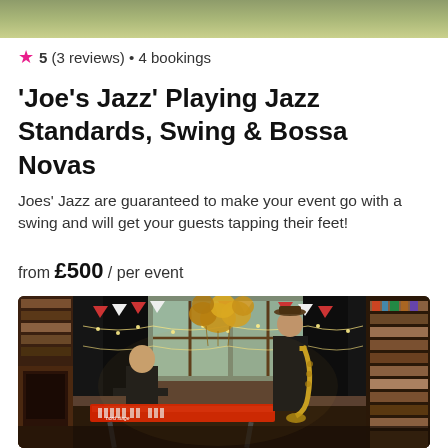[Figure (photo): Top cropped photo of blurry green/brown background, partial view of the top of a performance photo]
★ 5 (3 reviews) • 4 bookings
'Joe's Jazz' Playing Jazz Standards, Swing & Bossa Novas
Joes' Jazz are guaranteed to make your event go with a swing and will get your guests tapping their feet!
from £500 / per event
[Figure (photo): Two jazz musicians performing in a decorated room with bookshelves, bunting flags, gold balloon cluster, and fairy lights. One musician plays keyboard (Nord Stage), the other stands playing saxophone. The room has large windows with a view of trees, dark curtains, and a brick fireplace on the left.]